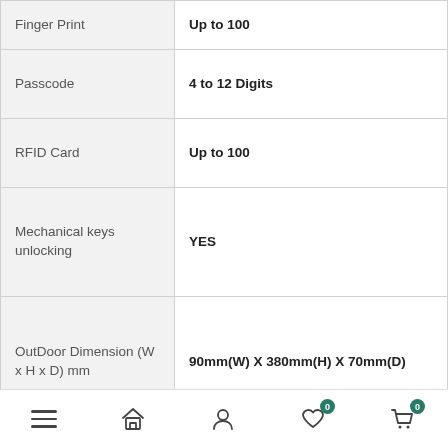| Feature | Value |
| --- | --- |
| Finger Print | Up to 100 |
| Passcode | 4 to 12 Digits |
| RFID Card | Up to 100 |
| Mechanical keys unlocking | YES |
| OutDoor Dimension (W x H x D) mm | 90mm(W) X 380mm(H) X 70mm(D) |
| InDoor Dimension (W x H x D) mm | 90mm(W) X 380mm(H) X 70mm(D) |